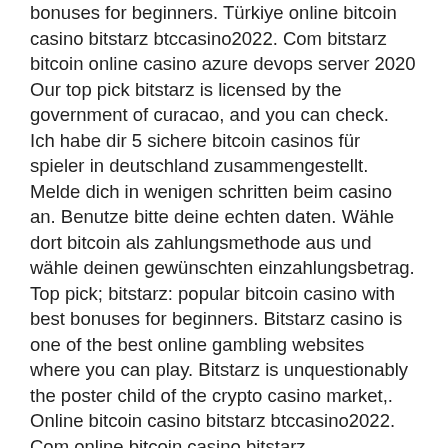bonuses for beginners. Türkiye online bitcoin casino bitstarz btccasino2022. Com bitstarz bitcoin online casino azure devops server 2020 Our top pick bitstarz is licensed by the government of curacao, and you can check. Ich habe dir 5 sichere bitcoin casinos für spieler in deutschland zusammengestellt. Melde dich in wenigen schritten beim casino an. Benutze bitte deine echten daten. Wähle dort bitcoin als zahlungsmethode aus und wähle deinen gewünschten einzahlungsbetrag. Top pick; bitstarz: popular bitcoin casino with best bonuses for beginners. Bitstarz casino is one of the best online gambling websites where you can play. Bitstarz is unquestionably the poster child of the crypto casino market,. Online bitcoin casino bitstarz btccasino2022. Com online bitcoin casino bitstarz btccasino2022. No deposit bitcoin bonuses for - latest casino no bitstarz has long been regarded as the best-in-class online casino. When you're